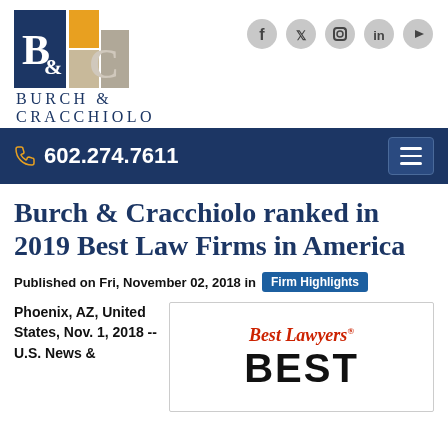[Figure (logo): Burch & Cracchiolo law firm logo with B&C monogram in dark blue, orange, and tan colors, followed by firm name text]
[Figure (infographic): Social media icons for Facebook, Twitter, Instagram, LinkedIn, and YouTube in circular gray buttons]
602.274.7611
Burch & Cracchiolo ranked in 2019 Best Law Firms in America
Published on Fri, November 02, 2018 in Firm Highlights
Phoenix, AZ, United States, Nov. 1, 2018 -- U.S. News &
[Figure (logo): Best Lawyers Best Law Firms badge/logo with red italic 'Best Lawyers' text and large bold 'BEST' text below]